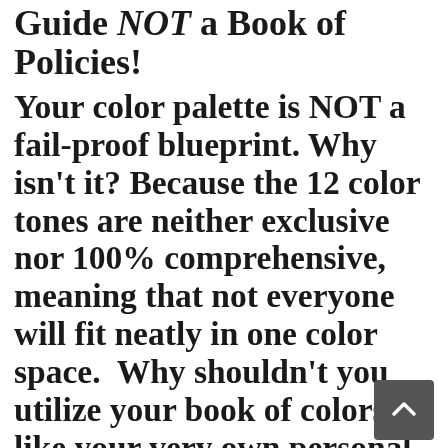Guide NOT a Book of Policies!
Your color palette is NOT a fail-proof blueprint. Why isn't it? Because the 12 color tones are neither exclusive nor 100% comprehensive, meaning that not everyone will fit neatly in one color space.  Why shouldn't you utilize your book of colors like your very own personal bible? Even if your complexion does fit well in